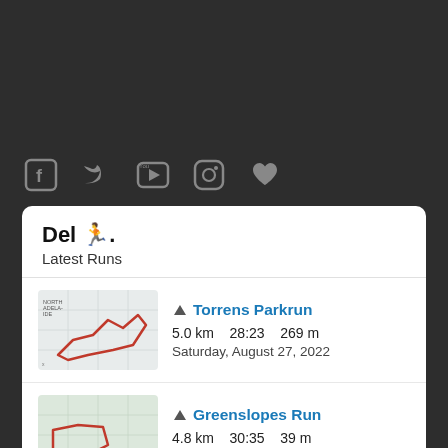[Figure (other): Social media icons: Facebook, Twitter, YouTube, Instagram, Heart/favorite]
Del 🏃.
Latest Runs
Torrens Parkrun — 5.0 km  28:23  269 m — Saturday, August 27, 2022
Greenslopes Run — 4.8 km  30:35  39 m — Thursday, August 18, 2022
Lillydale Lake Parkrun — 5.0 km  27:41  9 m — Saturday, August 13, 2022
(partial/cut off run item)